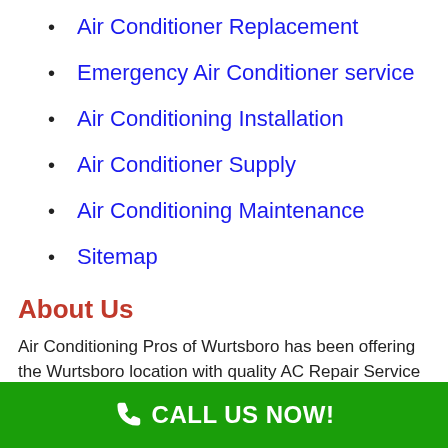Air Conditioner Replacement
Emergency Air Conditioner service
Air Conditioning Installation
Air Conditioner Supply
Air Conditioning Maintenance
Sitemap
About Us
Air Conditioning Pros of Wurtsboro has been offering the Wurtsboro location with quality AC Repair Service for over 40 years, and have hundreds of pleased customers. All Air Conditioner repair is 100% assured, and our expert A/C techs are trained in Air Conditioning repair work and installation.
CALL US NOW!